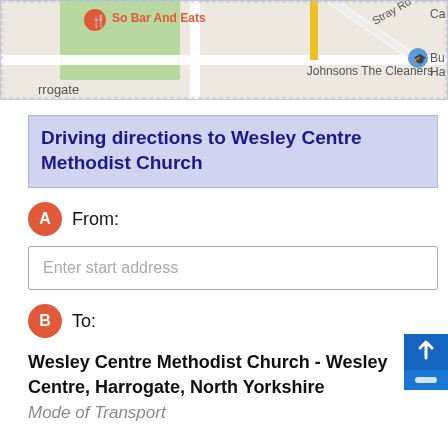[Figure (map): Google Maps street map showing area around Wesley Centre Methodist Church in Harrogate, with labels for So Bar And Eats, Johnsons The Cleaners, Stray Rd]
Driving directions to Wesley Centre Methodist Church
From:
Enter start address
To:
Wesley Centre Methodist Church - Wesley Centre, Harrogate, North Yorkshire
Mode of Transport